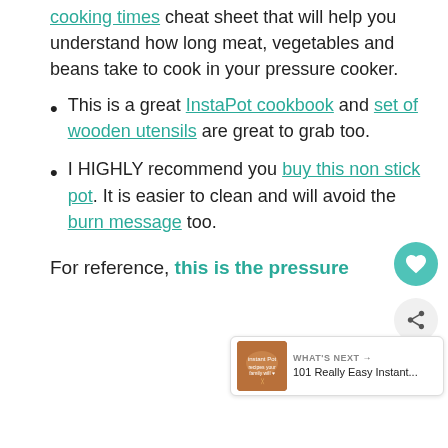cooking times cheat sheet that will help you understand how long meat, vegetables and beans take to cook in your pressure cooker.
This is a great InstaPot cookbook and set of wooden utensils are great to grab too.
I HIGHLY recommend you buy this non stick pot. It is easier to clean and will avoid the burn message too.
For reference, this is the pressure